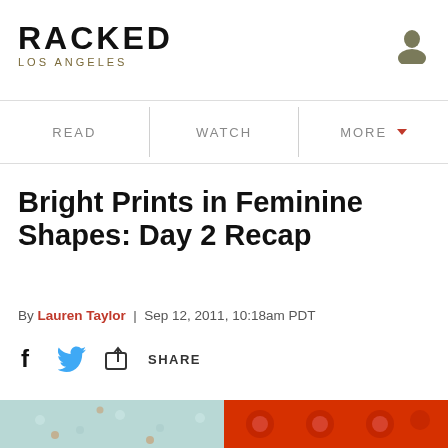RACKED LOS ANGELES
READ | WATCH | MORE
Bright Prints in Feminine Shapes: Day 2 Recap
By Lauren Taylor | Sep 12, 2011, 10:18am PDT
SHARE
[Figure (photo): Close-up photo showing fashion garments: on the left a light blue/white floral patterned dress with small buttons, on the right a red garment with large sequined flower embellishments.]